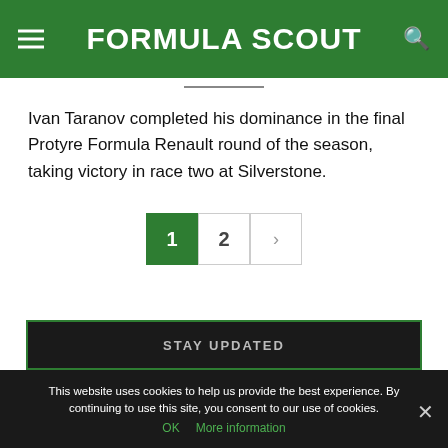FORMULA SCOUT
Ivan Taranov completed his dominance in the final Protyre Formula Renault round of the season, taking victory in race two at Silverstone.
Pagination: 1  2  >
STAY UPDATED
This website uses cookies to help us provide the best experience. By continuing to use this site, you consent to our use of cookies.
OK  More information